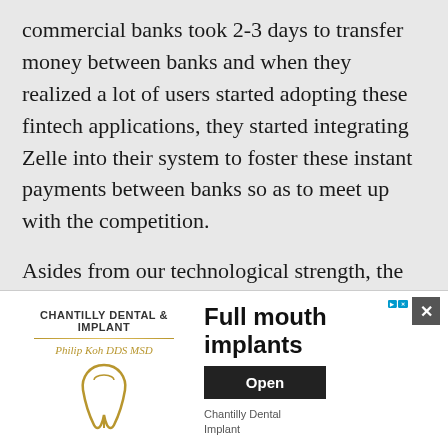commercial banks took 2-3 days to transfer money between banks and when they realized a lot of users started adopting these fintech applications, they started integrating Zelle into their system to foster these instant payments between banks so as to meet up with the competition.
Asides from our technological strength, the average Nigerian transaction involves the use of four payment methods which are all instant; Point of Sale (POS) machine, Online Bank Transfer, USSD Code enabled transfers and fiat currency. The average Nigerian retailer accepts at least
[Figure (other): Advertisement banner for Chantilly Dental & Implant featuring logo, tooth illustration, headline 'Full mouth implants', an Open button, and Chantilly Dental Implant sub-text.]